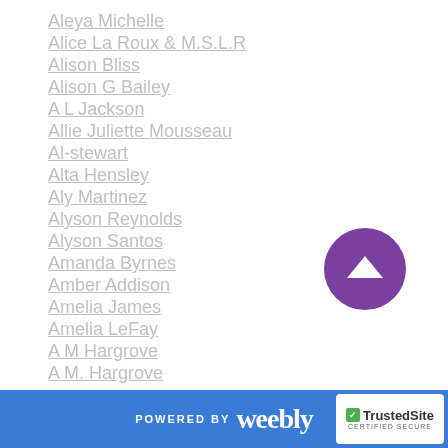Aleya Michelle
Alice La Roux & M.S.L.R
Alison Bliss
Alison G Bailey
A L Jackson
Allie Juliette Mousseau
Al-stewart
Alta Hensley
Aly Martinez
Alyson Reynolds
Alyson Santos
Amanda Byrnes
Amber Addison
Amelia James
Amelia LeFay
A M Hargrove
A M. Hargrove
POWERED BY weebly  TrustedSite CERTIFIED SECURE